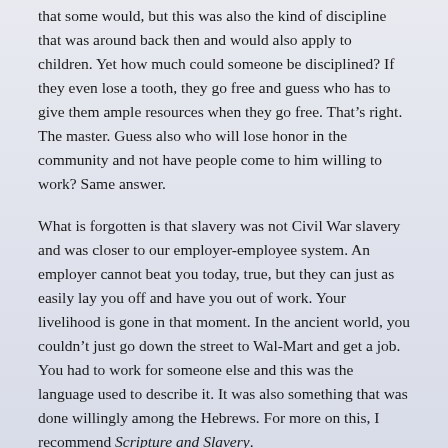that some would, but this was also the kind of discipline that was around back then and would also apply to children. Yet how much could someone be disciplined? If they even lose a tooth, they go free and guess who has to give them ample resources when they go free. That’s right. The master. Guess also who will lose honor in the community and not have people come to him willing to work? Same answer.
What is forgotten is that slavery was not Civil War slavery and was closer to our employer-employee system. An employer cannot beat you today, true, but they can just as easily lay you off and have you out of work. Your livelihood is gone in that moment. In the ancient world, you couldn’t just go down the street to Wal-Mart and get a job. You had to work for someone else and this was the language used to describe it. It was also something that was done willingly among the Hebrews. For more on this, I recommend Scripture and Slavery.
How to kill your headstrong kids? Really? The passage in